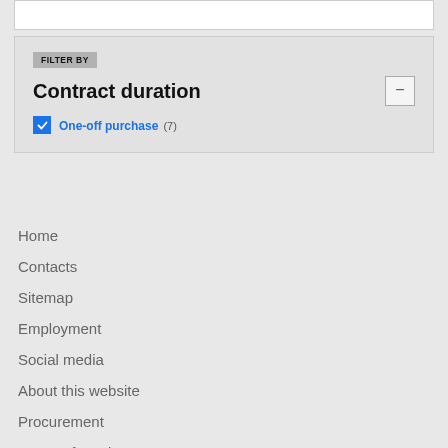FILTER BY
Contract duration
One-off purchase (7)
Home
Contacts
Sitemap
Employment
Social media
About this website
Procurement
Terms of services